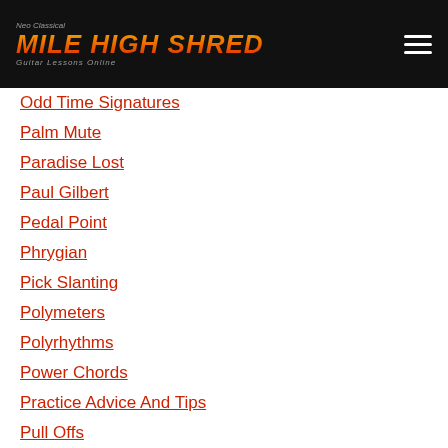Mile High Shred
Odd Time Signatures
Palm Mute
Paradise Lost
Paul Gilbert
Pedal Point
Phrygian
Pick Slanting
Polymeters
Polyrhythms
Power Chords
Practice Advice And Tips
Pull Offs
Pull-offs
Quarter Notes
Real Guitar Lessons
Recording
Reverse Gallop Rhythm